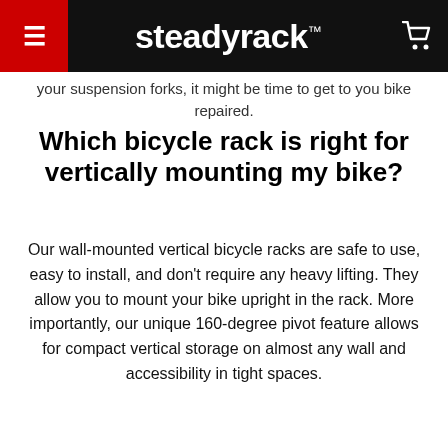steadyrack™
your suspension forks, it might be time to get to you bike repaired.
Which bicycle rack is right for vertically mounting my bike?
Our wall-mounted vertical bicycle racks are safe to use, easy to install, and don't require any heavy lifting. They allow you to mount your bike upright in the rack. More importantly, our unique 160-degree pivot feature allows for compact vertical storage on almost any wall and accessibility in tight spaces.